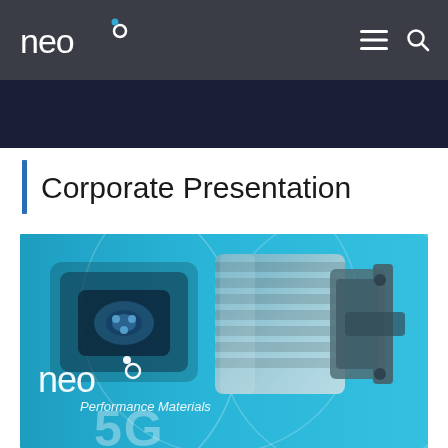neo° [navigation bar with menu and search icons]
Corporate Presentation
[Figure (photo): Neo Performance Materials corporate presentation cover image showing an electric vehicle charging port on the left (blue background) and a metallic motor/actuator component on the right, with the Neo Performance Materials logo and '5G' text overlaid on a bright blue background. Decorative circular arc lines overlay the image.]